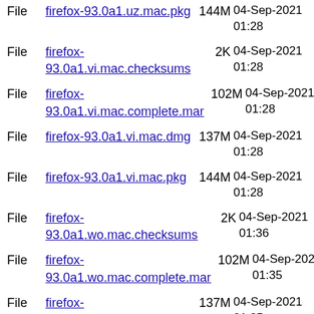File firefox-93.0a1.uz.mac.pkg 144M 04-Sep-2021 01:28
File firefox-93.0a1.vi.mac.checksums 2K 04-Sep-2021 01:28
File firefox-93.0a1.vi.mac.complete.mar 102M 04-Sep-2021 01:28
File firefox-93.0a1.vi.mac.dmg 137M 04-Sep-2021 01:28
File firefox-93.0a1.vi.mac.pkg 144M 04-Sep-2021 01:28
File firefox-93.0a1.wo.mac.checksums 2K 04-Sep-2021 01:36
File firefox-93.0a1.wo.mac.complete.mar 102M 04-Sep-2021 01:35
File firefox-93.0a1.wo.mac.dmg 137M 04-Sep-2021 01:35
File firefox-93.0a1.wo.mac.pkg 144M 04-Sep-2021 01:35
File firefox-93.0a1.xh.mac.checksums 2K 04-Sep-2021 01:36
File firefox-93.0a1.xh.mac.complete.mar 102M 04-Sep-2021 01:34
File firefox-93.0a1.xh.mac.dmg 137M 04-Sep-2021 01:34